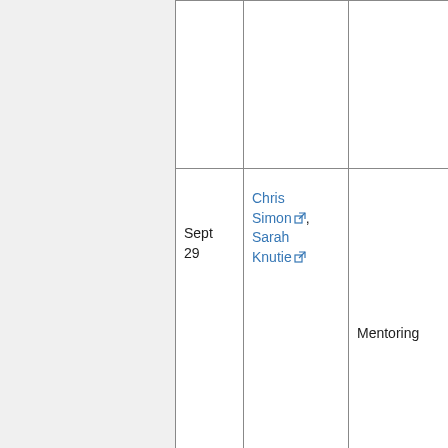| Date | Speaker(s) | Topic |
| --- | --- | --- |
|  |  |  |
| Sept 29 | Chris Simon, Sarah Knutie | Mentoring |
| Oct 6 | Sacha Spector, Erin King, Krissa Skogen, Sarah Bois | Alumni panel: Careers outside academia |
|  |  |  |